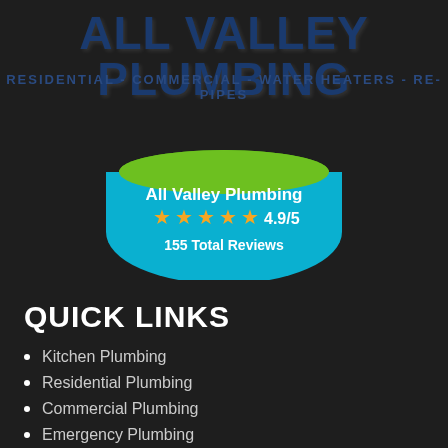All Valley Plumbing
Residential - Commercial - Water Heaters - Re-Pipes
[Figure (infographic): Teal and green oval badge showing All Valley Plumbing name, 4.9/5 star rating with 5 gold stars, and 155 Total Reviews]
QUICK LINKS
Kitchen Plumbing
Residential Plumbing
Commercial Plumbing
Emergency Plumbing